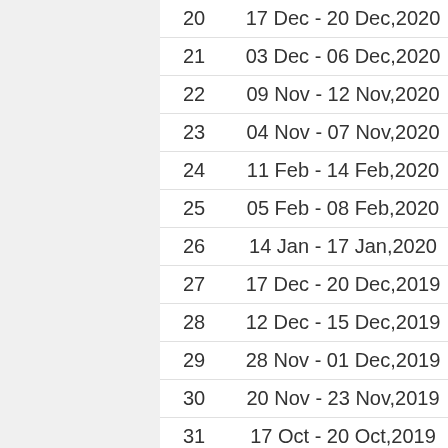| # | Date | Sponsor |
| --- | --- | --- |
| 20 | 17 Dec - 20 Dec,2020 | Tata Ste… |
| 21 | 03 Dec - 06 Dec,2020 | Jeev Milk… |
| 22 | 09 Nov - 12 Nov,2020 | Tata Ste… |
| 23 | 04 Nov - 07 Nov,2020 | Tata Ste… |
| 24 | 11 Feb - 14 Feb,2020 | Tata Ste… |
| 25 | 05 Feb - 08 Feb,2020 | Vooty & … |
| 26 | 14 Jan - 17 Jan,2020 | Tata Ste… |
| 27 | 17 Dec - 20 Dec,2019 | INDO-MI… |
| 28 | 12 Dec - 15 Dec,2019 | ICC-RCG… |
| 29 | 28 Nov - 01 Dec,2019 | Kensville… |
| 30 | 20 Nov - 23 Nov,2019 | IndianOil… |
| 31 | 17 Oct - 20 Oct,2019 | Jeev Milk… |